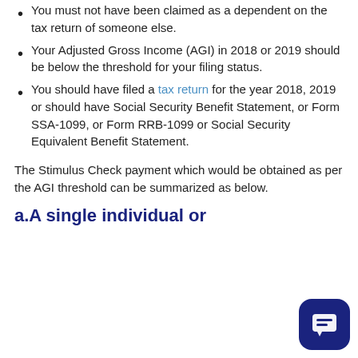You must not have been claimed as a dependent on the tax return of someone else.
Your Adjusted Gross Income (AGI) in 2018 or 2019 should be below the threshold for your filing status.
You should have filed a tax return for the year 2018, 2019 or should have Social Security Benefit Statement, or Form SSA-1099, or Form RRB-1099 or Social Security Equivalent Benefit Statement.
The Stimulus Check payment which would be obtained as per the AGI threshold can be summarized as below.
a.A single individual or